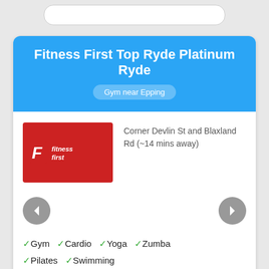Fitness First Top Ryde Platinum Ryde
Gym near Epping
[Figure (logo): Fitness First logo — white 'F' icon and 'fitness first' text on red background]
Corner Devlin St and Blaxland Rd (~14 mins away)
✓Gym ✓Cardio ✓Yoga ✓Zumba ✓Pilates ✓Swimming
Why Fitness First Top Ryde Platinum? It all begins here with Fitness First Top Ryde. Every day more than 40,000 Australians get a little fitter at